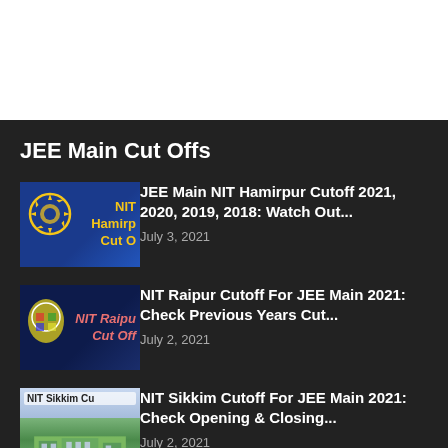JEE Main Cut Offs
[Figure (photo): NIT Hamirpur thumbnail with gear logo and yellow text on blue background]
JEE Main NIT Hamirpur Cutoff 2021, 2020, 2019, 2018: Watch Out...
July 3, 2021
[Figure (photo): NIT Raipur thumbnail with emblem and red italic text on dark blue background]
NIT Raipur Cutoff For JEE Main 2021: Check Previous Years Cut...
July 2, 2021
[Figure (photo): NIT Sikkim thumbnail with building and mountain background]
NIT Sikkim Cutoff For JEE Main 2021: Check Opening & Closing...
July 2, 2021